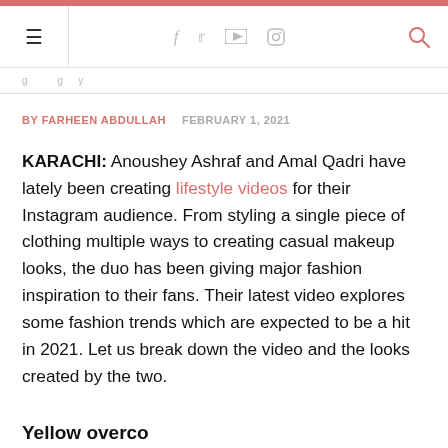Navigation bar with hamburger menu, social icons (f, twitter, youtube, instagram), and search icon
breadcrumb navigation text
BY FARHEEN ABDULLAH   FEBRUARY 1, 2021
KARACHI: Anoushey Ashraf and Amal Qadri have lately been creating lifestyle videos for their Instagram audience. From styling a single piece of clothing multiple ways to creating casual makeup looks, the duo has been giving major fashion inspiration to their fans. Their latest video explores some fashion trends which are expected to be a hit in 2021. Let us break down the video and the looks created by the two.
Yellow overcoat